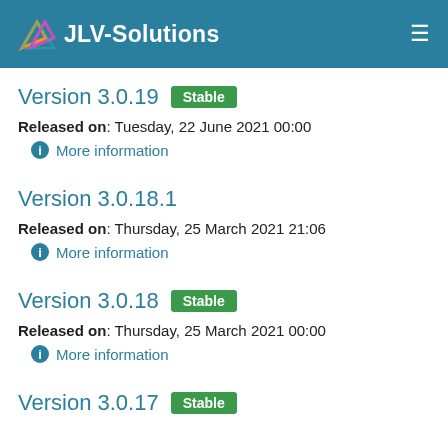JLV-Solutions
Version 3.0.19  Stable
Released on: Tuesday, 22 June 2021 00:00
More information
Version 3.0.18.1
Released on: Thursday, 25 March 2021 21:06
More information
Version 3.0.18  Stable
Released on: Thursday, 25 March 2021 00:00
More information
Version 3.0.17  Stable